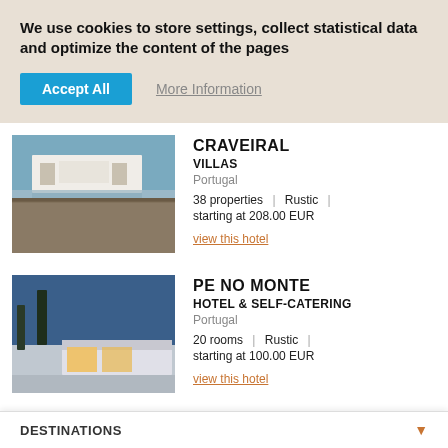We use cookies to store settings, collect statistical data and optimize the content of the pages
Accept All  More Information
CRAVEIRAL
VILLAS
Portugal
38 properties | Rustic |
starting at 208.00 EUR
view this hotel
PE NO MONTE
HOTEL & SELF-CATERING
Portugal
20 rooms | Rustic |
starting at 100.00 EUR
view this hotel
QUINTA DAS BELDROEGAS -
CASAS DE CAMPO
6 properties | Rustic |
DESTINATIONS